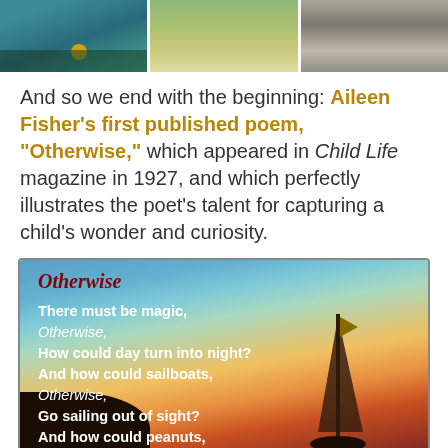[Figure (photo): Three partial images at top: a teal/green illustrated scene, a nature/greenery photo, and a stone/relief sculpture closeup.]
And so we end with the beginning: Aileen Fisher's first published poem, "Otherwise," which appeared in Child Life magazine in 1927, and which perfectly illustrates the poet's talent for capturing a child's wonder and curiosity.
[Figure (illustration): Illustrated background showing a sunset/sky gradient from blue to orange-red. A sailboat silhouette is visible on the right. Text of the poem 'Otherwise' by Aileen Fisher overlaid: title 'Otherwise' in dark red italic script, followed by lines: 'There must be magic, / Otherwise, / How could day turn into night? / And how could sailboats, / Otherwise, / Go sailing out of sight? / And how could peanuts,']